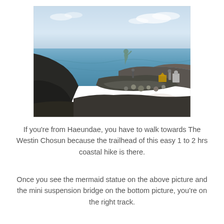[Figure (photo): Coastal rocky shoreline scene with a mermaid statue on rocks in the foreground, ocean and sky in the background. A person stands near the statue, and another person is visible to the right. A watermark/logo is visible on the lower right of the image.]
If you're from Haeundae, you have to walk towards The Westin Chosun because the trailhead of this easy 1 to 2 hrs coastal hike is there.
Once you see the mermaid statue on the above picture and the mini suspension bridge on the bottom picture, you're on the right track.